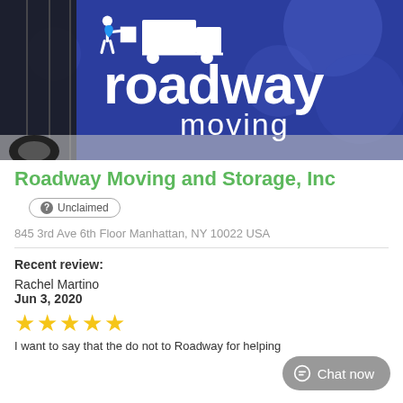[Figure (photo): Photo of a blue Roadway Moving and Storage truck with white logo showing a person pushing a box and a truck silhouette, with 'roadway moving' text on the side.]
Roadway Moving and Storage, Inc
? Unclaimed
845 3rd Ave 6th Floor Manhattan, NY 10022 USA
Recent review:
Rachel Martino
Jun 3, 2020
[Figure (other): Five yellow star rating icons]
I want to say that the do not to Roadway for helping
Chat now